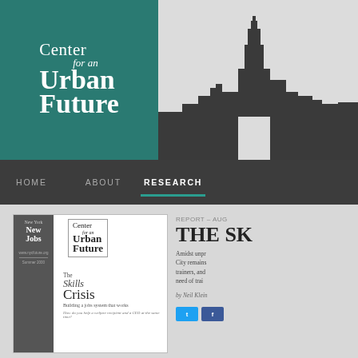[Figure (logo): Center for an Urban Future logo on teal background with New York City skyline silhouette]
HOME   ABOUT   RESEARCH
[Figure (screenshot): Cover of report showing 'The Skills Crisis: Building a jobs system that works' with Center for an Urban Future logo and New York New Jobs branding, Summer 2000]
REPORT - AUG
THE SK
Amidst unpr City remains trainers, and need of trai
by Neil Klein
[Figure (other): Twitter and Facebook social sharing buttons]